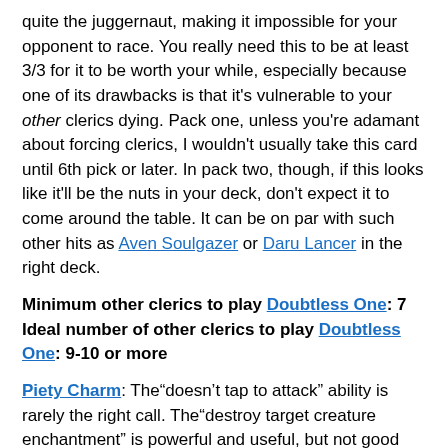quite the juggernaut, making it impossible for your opponent to race. You really need this to be at least 3/3 for it to be worth your while, especially because one of its drawbacks is that it's vulnerable to your other clerics dying. Pack one, unless you're adamant about forcing clerics, I wouldn't usually take this card until 6th pick or later. In pack two, though, if this looks like it'll be the nuts in your deck, don't expect it to come around the table. It can be on par with such other hits as Aven Soulgazer or Daru Lancer in the right deck.
Minimum other clerics to play Doubtless One: 7 Ideal number of other clerics to play Doubtless One: 9-10 or more
Piety Charm: The"doesn't tap to attack" ability is rarely the right call. The"destroy target creature enchantment" is powerful and useful, but not good enough to warrant a maindeck. The other ability is the important one – a mini-Giant Growth for your clerics. We're all familiar with th...